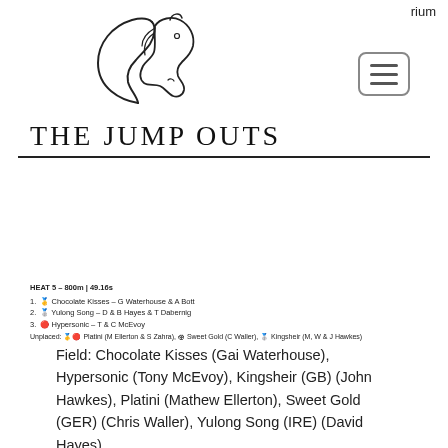rium
[Figure (logo): The Jump Outs logo — stylized horse head with decorative J letterform]
THE JUMP OUTS
HEAT 5 – 800m | 49.16s
1. 🥇 Chocolate Kisses – G Waterhouse & A Bott
2. 🥈 Yulong Song – D & B Hayes & T Dabernig
3. 🔴 Hypersonic – T & C McEvoy
Unplaced: 🥇🔴 Platini (M Ellerton & S Zahra), 🏟 Sweet Gold (C Waller), 🥈 Kingsheir (M, W & J Hawkes)
Field: Chocolate Kisses (Gai Waterhouse), Hypersonic (Tony McEvoy), Kingsheir (GB) (John Hawkes), Platini (Mathew Ellerton), Sweet Gold (GER) (Chris Waller), Yulong Song (IRE) (David Hayes)